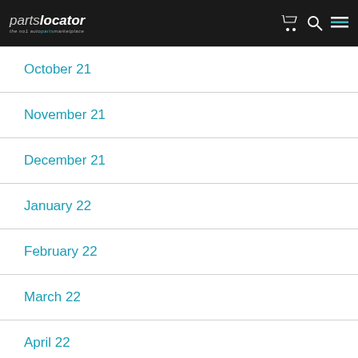partslocator the no1 autoparts marketplace
October 21
November 21
December 21
January 22
February 22
March 22
April 22
May 22
June 22